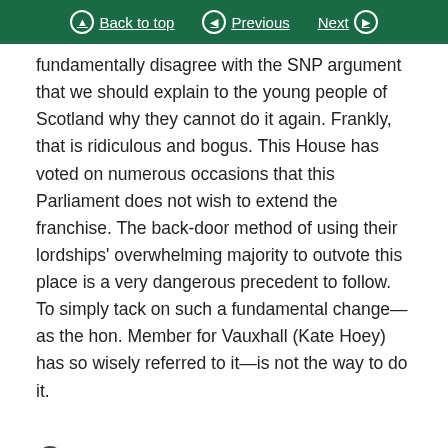Back to top | Previous | Next
fundamentally disagree with the SNP argument that we should explain to the young people of Scotland why they cannot do it again. Frankly, that is ridiculous and bogus. This House has voted on numerous occasions that this Parliament does not wish to extend the franchise. The back-door method of using their lordships' overwhelming majority to outvote this place is a very dangerous precedent to follow. To simply tack on such a fundamental change—as the hon. Member for Vauxhall (Kate Hoey) has so wisely referred to it—is not the way to do it.
1.15pm